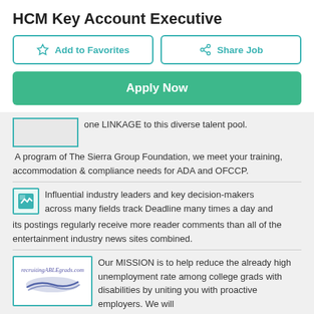HCM Key Account Executive
[Figure (infographic): Add to Favorites button (outlined, teal border)]
[Figure (infographic): Share Job button (outlined, teal border)]
[Figure (infographic): Apply Now green button]
one LINKAGE to this diverse talent pool. A program of The Sierra Group Foundation, we meet your training, accommodation & compliance needs for ADA and OFCCP.
Influential industry leaders and key decision-makers across many fields track Deadline many times a day and its postings regularly receive more reader comments than all of the entertainment industry news sites combined.
Our MISSION is to help reduce the already high unemployment rate among college grads with disabilities by uniting you with proactive employers. We will assist competitive career oriented college grads with disabilities in their search for employment in the entry level